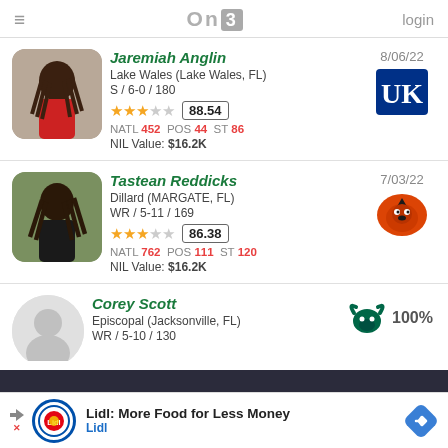≡  ON3  login
Jaremiah Anglin | Lake Wales (Lake Wales, FL) | S / 6-0 / 180 | Rating: 88.54 | NATL 452 POS 44 ST 86 | NIL Value: $16.2K | 8/06/22 | Kentucky
Tastean Reddicks | Dillard (MARGATE, FL) | WR / 5-11 / 169 | Rating: 86.38 | NATL 762 POS 111 ST 120 | NIL Value: $16.2K | 7/03/22 | Oregon State
Corey Scott | Episcopal (Jacksonville, FL) | WR / 5-10 / 130 | USF 100%
Lidl: More Food for Less Money | Lidl